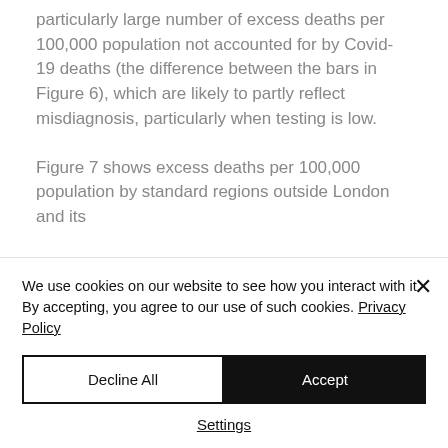particularly large number of excess deaths per 100,000 population not accounted for by Covid-19 deaths (the difference between the bars in Figure 6), which are likely to partly reflect misdiagnosis, particularly when testing is low.
Figure 7 shows excess deaths per 100,000 population by standard regions outside London and its
We use cookies on our website to see how you interact with it. By accepting, you agree to our use of such cookies. Privacy Policy